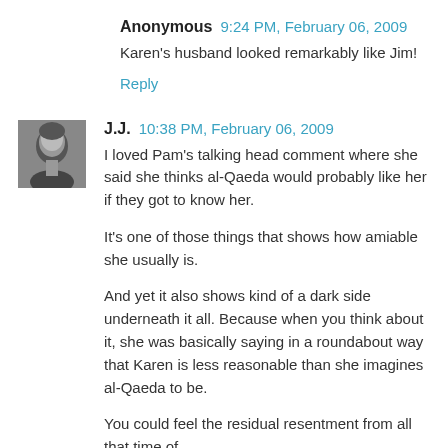Anonymous  9:24 PM, February 06, 2009
Karen's husband looked remarkably like Jim!
Reply
J.J.  10:38 PM, February 06, 2009
I loved Pam's talking head comment where she said she thinks al-Qaeda would probably like her if they got to know her.
It's one of those things that shows how amiable she usually is.
And yet it also shows kind of a dark side underneath it all. Because when you think about it, she was basically saying in a roundabout way that Karen is less reasonable than she imagines al-Qaeda to be.
You could feel the residual resentment from all that time of